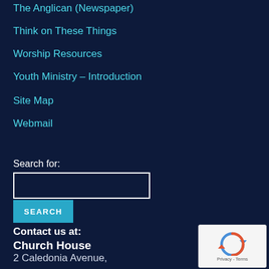The Anglican (Newspaper)
Think on These Things
Worship Resources
Youth Ministry – Introduction
Site Map
Webmail
Search for:
Contact us at:
Church House
2 Caledonia Avenue,
Cross Roads, Kingston 5
Jamaica
[Figure (other): reCAPTCHA logo with Privacy and Terms text]